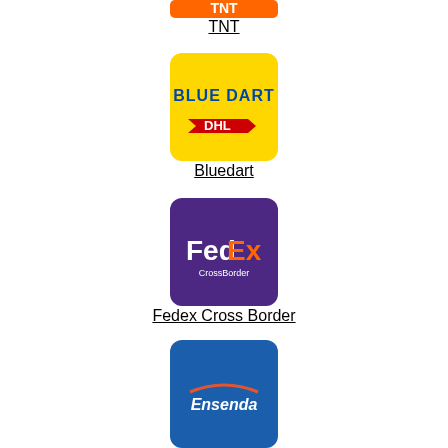[Figure (logo): TNT orange logo (partially visible at top)]
TNT
[Figure (logo): Blue Dart DHL logo on yellow background]
Bluedart
[Figure (logo): FedEx CrossBorder logo on purple background]
Fedex Cross Border
[Figure (logo): Ensenda logo on blue background (partially visible at bottom)]